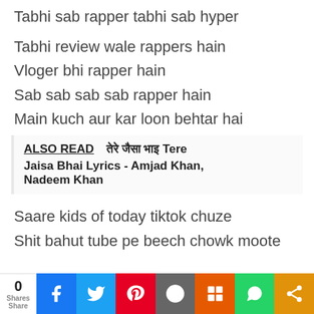Tabhi sab rapper tabhi sab hyper
Tabhi review wale rappers hain
Vloger bhi rapper hain
Sab sab sab sab rapper hain
Main kuch aur kar loon behtar hai
ALSO READ  तेरे जैसा भाई Tere Jaisa Bhai Lyrics - Amjad Khan, Nadeem Khan
Saare kids of today tiktok chuze
Shit bahut tube pe beech chowk moote
0 Shares Share